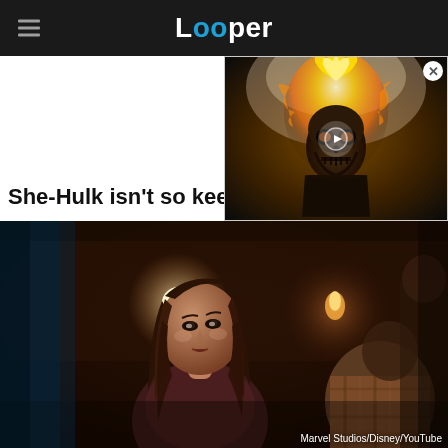Looper
She-Hulk isn't so keen
[Figure (screenshot): Video thumbnail showing Ghost Rider (flaming skull) with a play button overlay]
[Figure (photo): Scene from She-Hulk TV show: a woman with long dark hair in a dimly lit bar/restaurant setting, other figures visible in background]
Marvel Studios/Disney/YouTube